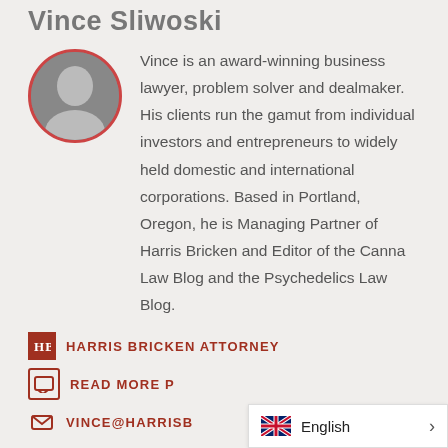Vince Sliwoski
[Figure (photo): Black and white circular headshot photo of Vince Sliwoski, a man in a suit]
Vince is an award-winning business lawyer, problem solver and dealmaker. His clients run the gamut from individual investors and entrepreneurs to widely held domestic and international corporations. Based in Portland, Oregon, he is Managing Partner of Harris Bricken and Editor of the Canna Law Blog and the Psychedelics Law Blog.
HARRIS BRICKEN ATTORNEY
READ MORE P
Vince@harrisb
English